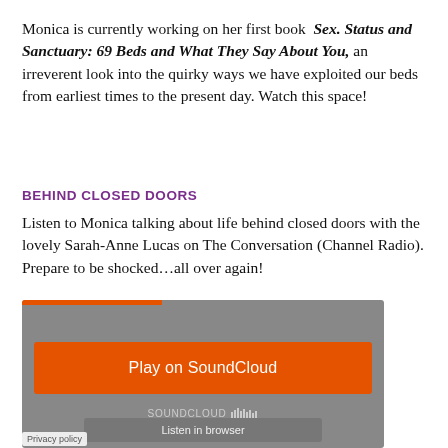Monica is currently working on her first book  Sex. Status and Sanctuary: 69 Beds and What They Say About You, an irreverent look into the quirky ways we have exploited our beds from earliest times to the present day. Watch this space!
BEHIND CLOSED DOORS
Listen to Monica talking about life behind closed doors with the lovely Sarah-Anne Lucas on The Conversation (Channel Radio). Prepare to be shocked...all over again!
[Figure (other): SoundCloud embedded audio player widget with orange 'Play on SoundCloud' button, SoundCloud logo/waveform, and 'Listen in browser' button on a grey background.]
Privacy policy